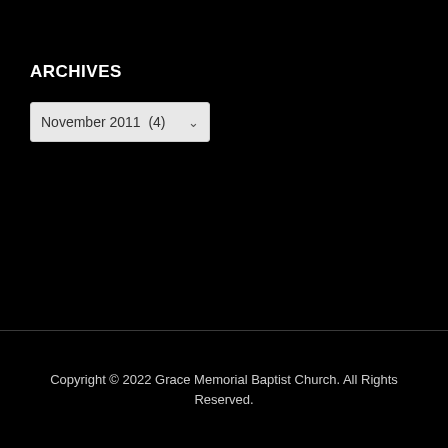ARCHIVES
[Figure (screenshot): A dropdown select element showing 'November 2011 (4)' with a dropdown arrow on a light gray background]
Copyright © 2022 Grace Memorial Baptist Church. All Rights Reserved.